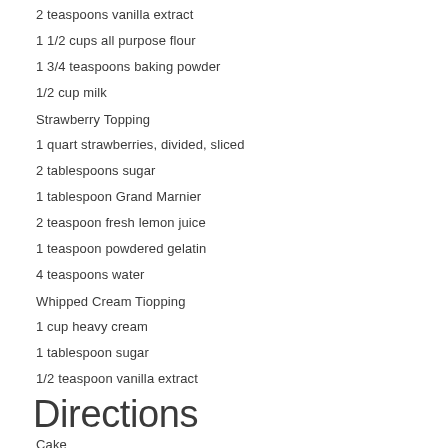2 teaspoons vanilla extract
1 1/2 cups all purpose flour
1 3/4 teaspoons baking powder
1/2 cup milk
Strawberry Topping
1 quart strawberries, divided, sliced
2 tablespoons sugar
1 tablespoon Grand Marnier
2 teaspoon fresh lemon juice
1 teaspoon powdered gelatin
4 teaspoons water
Whipped Cream Tiopping
1 cup heavy cream
1 tablespoon sugar
1/2 teaspoon vanilla extract
Directions
Cake